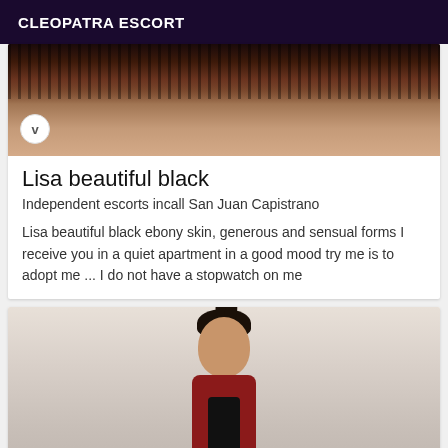CLEOPATRA ESCORT
[Figure (photo): Cropped photo showing top portion of a person wearing a black lace bra/lingerie, with a circular 'V' verification badge in bottom left.]
Lisa beautiful black
Independent escorts incall San Juan Capistrano
Lisa beautiful black ebony skin, generous and sensual forms I receive you in a quiet apartment in a good mood try me is to adopt me ... I do not have a stopwatch on me
[Figure (photo): Photo of a young Asian woman taking a mirror selfie. She has dark hair styled up with a bunny ear hair accessory, wearing a red outfit, and holding a black smartphone.]